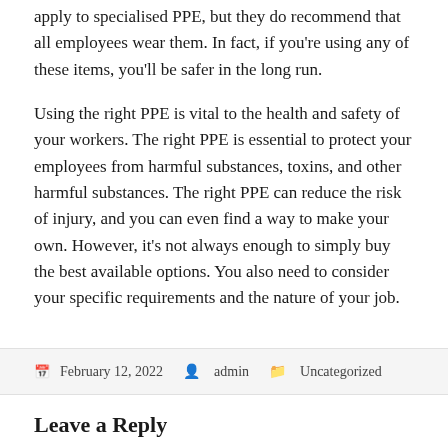apply to specialised PPE, but they do recommend that all employees wear them. In fact, if you're using any of these items, you'll be safer in the long run.
Using the right PPE is vital to the health and safety of your workers. The right PPE is essential to protect your employees from harmful substances, toxins, and other harmful substances. The right PPE can reduce the risk of injury, and you can even find a way to make your own. However, it's not always enough to simply buy the best available options. You also need to consider your specific requirements and the nature of your job.
February 12, 2022  admin  Uncategorized
Leave a Reply